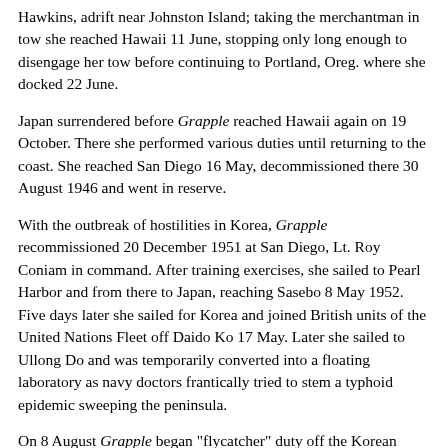Hawkins, adrift near Johnston Island; taking the merchantman in tow she reached Hawaii 11 June, stopping only long enough to disengage her tow before continuing to Portland, Oreg. where she docked 22 June.
Japan surrendered before Grapple reached Hawaii again on 19 October. There she performed various duties until returning to the coast. She reached San Diego 16 May, decommissioned there 30 August 1946 and went in reserve.
With the outbreak of hostilities in Korea, Grapple recommissioned 20 December 1951 at San Diego, Lt. Roy Coniam in command. After training exercises, she sailed to Pearl Harbor and from there to Japan, reaching Sasebo 8 May 1952. Five days later she sailed for Korea and joined British units of the United Nations Fleet off Daido Ko 17 May. Later she sailed to Ullong Do and was temporarily converted into a floating laboratory as navy doctors frantically tried to stem a typhoid epidemic sweeping the peninsula.
On 8 August Grapple began "flycatcher" duty off the Korean coast, patrolling at night to thwart enemy sampans laying mines in the shallows. While at anchor near Wonsan 12 August, Grapple came under heavy fire from shore batteries, and before she could clear the area was hit just below the water line. Her damage control party removed the unexploded projectile and patched up the 6" by